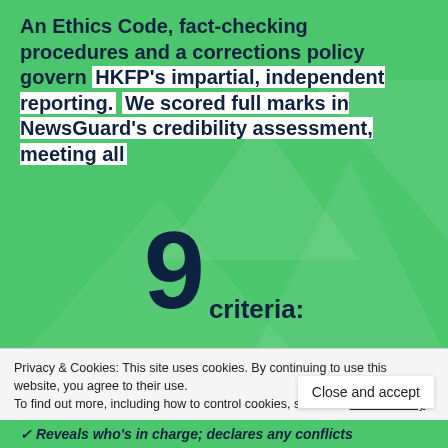An Ethics Code, fact-checking procedures and a corrections policy govern HKFP's impartial, independent reporting. We scored full marks in NewsGuard's credibility assessment, meeting all 9 criteria:
✓ No false content
✓ Avoids deceptive headlines
✓ Clearly labels advertising
Privacy & Cookies: This site uses cookies. By continuing to use this website, you agree to their use. To find out more, including how to control cookies, see here: Cookie Policy
Close and accept
✓ Reveals who's in charge; declares any conflicts